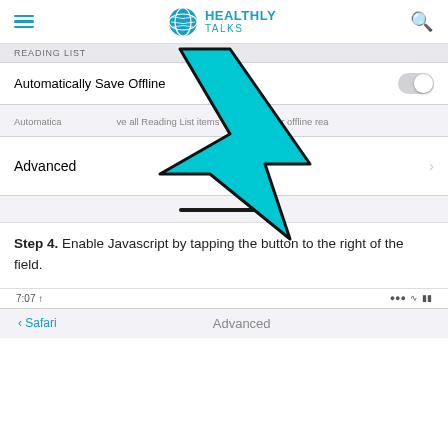HEALTHLY TALKS
[Figure (screenshot): iOS Safari settings screenshot showing READING LIST section with 'Automatically Save Offline' toggle (off) and 'Advanced' menu row, with a large cyan arrow pointing to the Advanced option. At bottom, a partial screenshot of the Advanced settings page nav bar.]
Step 4.  Enable Javascript by tapping the button to the right of the field.